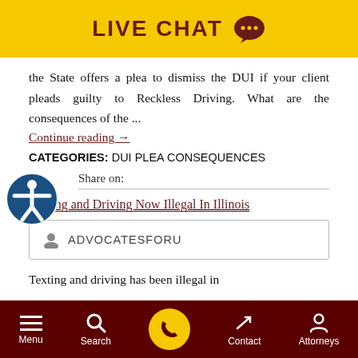LIVE CHAT
the State offers a plea to dismiss the DUI if your client pleads guilty to Reckless Driving. What are the consequences of the ...
Continue reading →
CATEGORIES: DUI PLEA CONSEQUENCES
Share on:
Talking and Driving Now Illegal In Illinois
ADVOCATESFORU
Texting and driving has been illegal in
Menu  Search  Contact  Attorneys